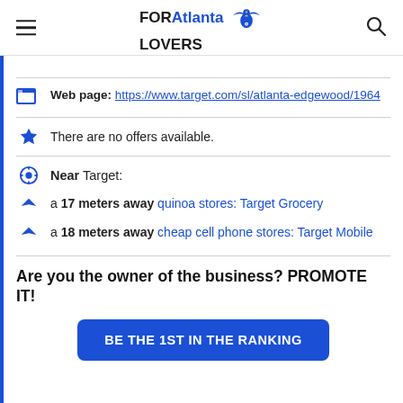FORAtlanta LOVERS
Web page: https://www.target.com/sl/atlanta-edgewood/1964
There are no offers available.
Near Target:
a 17 meters away quinoa stores: Target Grocery
a 18 meters away cheap cell phone stores: Target Mobile
Are you the owner of the business? PROMOTE IT!
BE THE 1ST IN THE RANKING